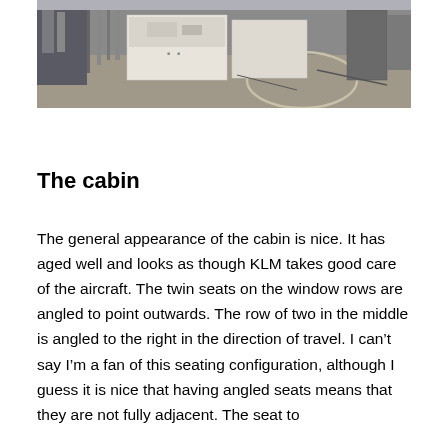[Figure (photo): Industrial or laboratory equipment photo showing large white rectangular equipment boxes/containers on a concrete floor, with various pipes, cables, and machinery visible in the background.]
The cabin
The general appearance of the cabin is nice. It has aged well and looks as though KLM takes good care of the aircraft. The twin seats on the window rows are angled to point outwards. The row of two in the middle is angled to the right in the direction of travel. I can’t say I’m a fan of this seating configuration, although I guess it is nice that having angled seats means that they are not fully adjacent. The seat to